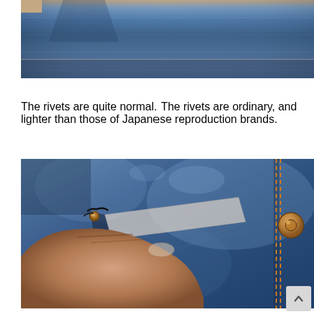[Figure (photo): Close-up photo of blue denim jeans fabric showing waistband area with orange stitching on light background]
The rivets are quite normal. The rivets are ordinary, and lighter than those of Japanese reproduction brands.
[Figure (photo): Close-up photo of blue denim jeans pocket area showing a copper/brass rivet being pulled by a finger, with orange stitching and another copper button visible on the right side]